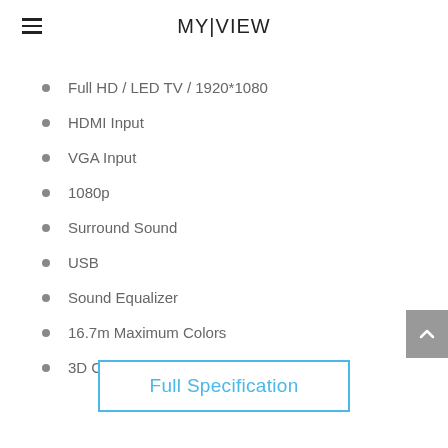MY|VIEW
Full HD / LED TV / 1920*1080
HDMI Input
VGA Input
1080p
Surround Sound
USB
Sound Equalizer
16.7m Maximum Colors
3D Comb Filter
Full Specification